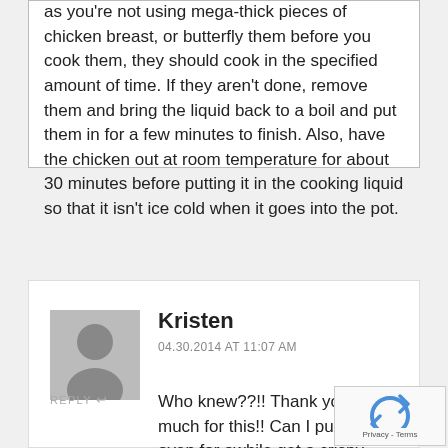as you're not using mega-thick pieces of chicken breast, or butterfly them before you cook them, they should cook in the specified amount of time. If they aren't done, remove them and bring the liquid back to a boil and put them in for a few minutes to finish. Also, have the chicken out at room temperature for about 30 minutes before putting it in the cooking liquid so that it isn't ice cold when it goes into the pot.
Kristen
04.30.2014 AT 11:07 AM
REPLY ↩
Who knew??!! Thank you so much for this!! Can I put it in the oven for awhile get a crispy outside afterwards?